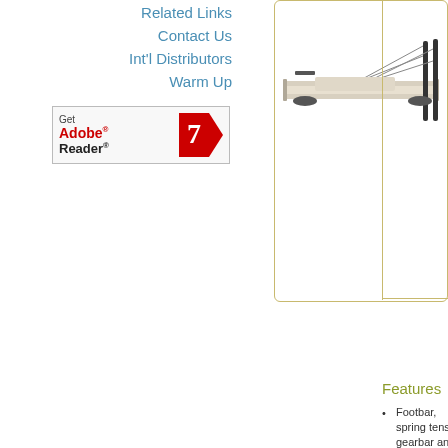Related Links
Contact Us
Int'l Distributors
Warm Up
[Figure (logo): Get Adobe Reader badge with red arrow logo]
[Figure (photo): STOTT PILATES reformer machine, angled view from top-right showing rails, foot bar, and springs]
Features
Footbar, spring tension gearbar and carriage stopping mechanism to regulate hip and knee flexion and accommodate different heights and abilities.
Robust footbar, wooden standing platform and pommel rests support a wide range of body weights.
Carriage boasts durable vinyl upholstery and dense EVA foam calibrated to provide maximum comfort and faithful proprioceptive feedback.
Carriage glides over enhanced double C rails using a self-lubricating mechanism to create a smooth, friction-free ride.
Easy-roll wheels make STOTT PILATES reformers a breeze to move or reposition.
High quality materials and construction ensure superior stability and safety. Gauged to withstand continuous, high-intensity use.
Equipped with
5 reformer springs